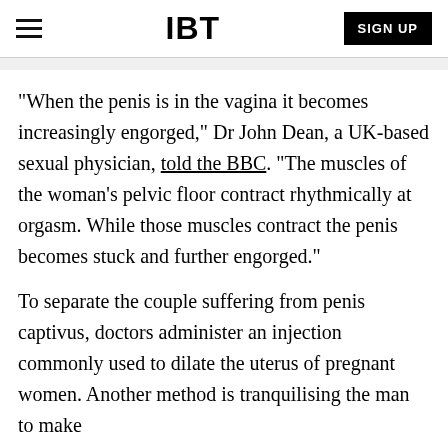IBT | SIGN UP
"When the penis is in the vagina it becomes increasingly engorged," Dr John Dean, a UK-based sexual physician, told the BBC. "The muscles of the woman's pelvic floor contract rhythmically at orgasm. While those muscles contract the penis becomes stuck and further engorged."
To separate the couple suffering from penis captivus, doctors administer an injection commonly used to dilate the uterus of pregnant women. Another method is tranquilising the man to make